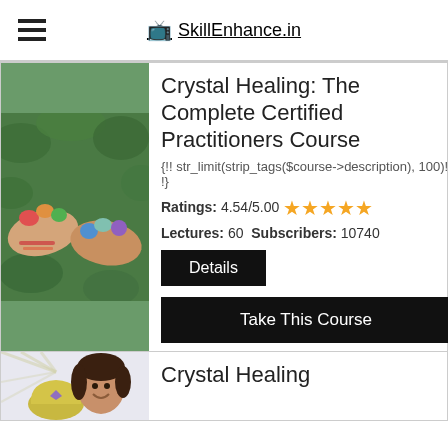SkillEnhance.in
[Figure (photo): Two hands holding colorful crystals/gemstones against green foliage background]
Crystal Healing: The Complete Certified Practitioners Course
{!! str_limit(strip_tags($course->description), 100)! !}
Ratings: 4.54/5.00 ★★★★★
Lectures: 60  Subscribers: 10740
Details
Take This Course
[Figure (photo): Woman smiling with a bag/sack with a crystal on it, radiating light background]
Crystal Healing